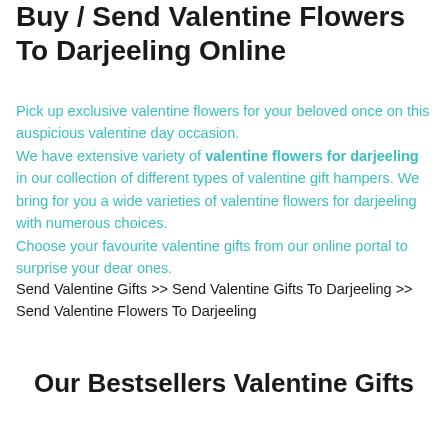Buy / Send Valentine Flowers To Darjeeling Online
Pick up exclusive valentine flowers for your beloved once on this auspicious valentine day occasion.
We have extensive variety of valentine flowers for darjeeling in our collection of different types of valentine gift hampers. We bring for you a wide varieties of valentine flowers for darjeeling with numerous choices.
Choose your favourite valentine gifts from our online portal to surprise your dear ones.
Send Valentine Gifts >> Send Valentine Gifts To Darjeeling >> Send Valentine Flowers To Darjeeling
Our Bestsellers Valentine Gifts